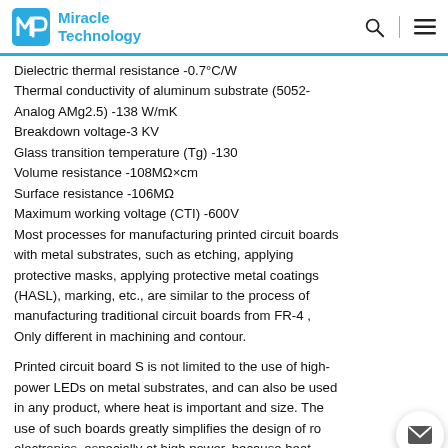Miracle Technology
Dielectric thermal resistance -0.7°C/W
Thermal conductivity of aluminum substrate (5052-Analog AMg2.5) -138 W/mK
Breakdown voltage-3 KV
Glass transition temperature (Tg) -130
Volume resistance -108MΩ×cm
Surface resistance -106MΩ
Maximum working voltage (CTI) -600V
Most processes for manufacturing printed circuit boards with metal substrates, such as etching, applying protective masks, applying protective metal coatings (HASL), marking, etc., are similar to the process of manufacturing traditional circuit boards from FR-4 , Only different in machining and contour.
Printed circuit board S is not limited to the use of high-power LEDs on metal substrates, and can also be used in any product, where heat is important and size. The use of such boards greatly simplifies the design of ra electronics, especially at high power, because heat dissipation is no longer strictly dependent on the relative position of the components and the surrounding free space board: heat is dissipated